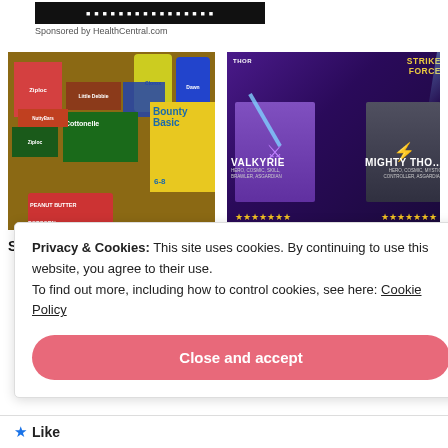[Figure (screenshot): Dark ad banner at top]
Sponsored by HealthCentral.com
[Figure (photo): Grocery products including Ziploc, Cottonelle, Bounty Basic, Peanut Butter Popcorn, Dawn, Clorox]
[Figure (screenshot): Marvel Strike Force game ad featuring Valkyrie and Mighty Thor characters with star ratings]
Seniors Get Up To $900 For
iPhone owners are obsessed
Privacy & Cookies: This site uses cookies. By continuing to use this website, you agree to their use.
To find out more, including how to control cookies, see here: Cookie Policy
Close and accept
Like